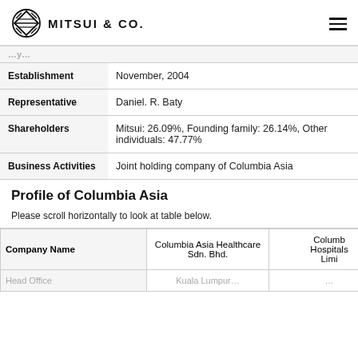MITSUI & CO.
|  |  |
| --- | --- |
| [partial row - cut off] |  |
| Establishment | November, 2004 |
| Representative | Daniel. R. Baty |
| Shareholders | Mitsui: 26.09%, Founding family: 26.14%, Other individuals: 47.77% |
| Business Activities | Joint holding company of Columbia Asia |
Profile of Columbia Asia
Please scroll horizontally to look at table below.
| Company Name | Columbia Asia Healthcare Sdn. Bhd. | Columbia Hospitals Limi... |
| --- | --- | --- |
| Head Office (partial) | Kuala Lumpur... | ... |